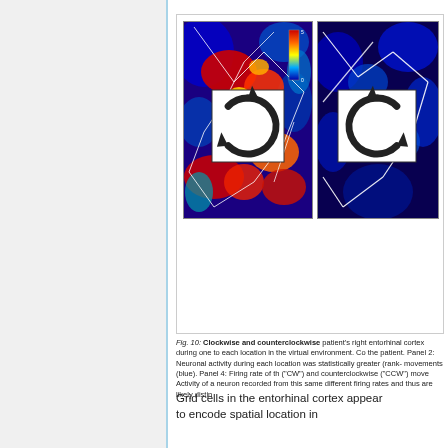[Figure (illustration): Two panels showing neuronal activity maps (heat maps) in a patient's entorhinal cortex during clockwise and counterclockwise movement in a virtual environment. Left panel shows a colorful heat map (red/yellow/blue) with white trajectory lines and a clockwise circular arrow icon. Right panel shows a dark blue heat map with white trajectory lines and a counterclockwise circular arrow icon.]
Fig. 10: Clockwise and counterclockwise patient's right entorhinal cortex during one to each location in the virtual environment. Co the patient. Panel 2: Neuronal activity during each location was statistically greater (rank- movements (blue). Panel 4: Firing rate of th ("CW") and counterclockwise ("CCW") move Activity of a neuron recorded from this same different firing rates and thus are likely distin
Grid cells in the entorhinal cortex appear to encode spatial location in